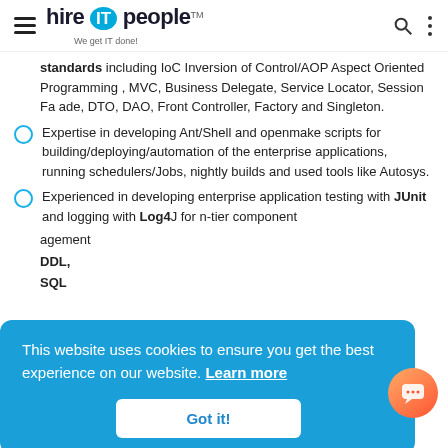hire IT people — We get IT done!
standards including IoC Inversion of Control/AOP Aspect Oriented Programming , MVC, Business Delegate, Service Locator, Session Façade, DTO, DAO, Front Controller, Factory and Singleton.
Expertise in developing Ant/Shell and openmake scripts for building/deploying/automation of the enterprise applications, running schedulers/Jobs, nightly builds and used tools like Autosys.
Experienced in developing enterprise application testing with JUnit and logging with Log4J for n-tier component
agement DDL, SQL
This website uses cookies to ensure you get the best experience on our website. Learn more
Got it!
experience in guiding, managing offshore/onsite teams